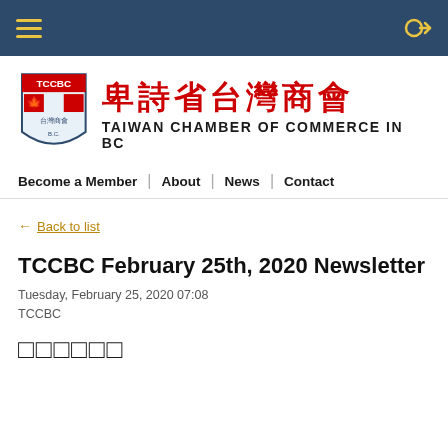TCCBC website header navigation bar
[Figure (logo): TCCBC logo badge with red and white maple leaf design and shield emblem, alongside Chinese text 卑詩省台灣商會 and English text TAIWAN CHAMBER OF COMMERCE IN BC]
Become a Member | About | News | Contact
← Back to list
TCCBC February 25th, 2020 Newsletter
Tuesday, February 25, 2020 07:08
TCCBC
□□□□□□